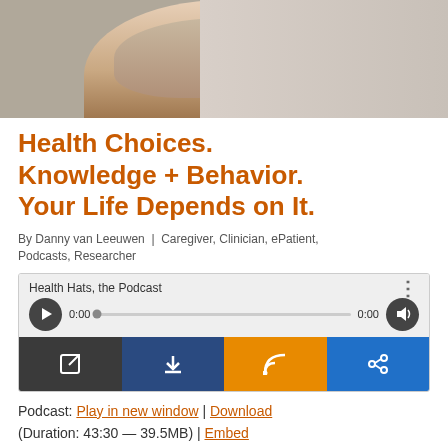[Figure (photo): Partial photo of a smiling woman with dark hair wearing a grey hoodie, cropped at chin/neck level]
Health Choices. Knowledge + Behavior. Your Life Depends on It.
By Danny van Leeuwen | Caregiver, Clinician, ePatient, Podcasts, Researcher
[Figure (screenshot): Podcast audio player widget for 'Health Hats, the Podcast' showing play button, progress bar at 0:00, volume button, and action buttons for external link, download, RSS feed, and share]
Podcast: Play in new window | Download (Duration: 43:30 — 39.5MB) | Embed
Subscribe: Apple Podcasts | Google